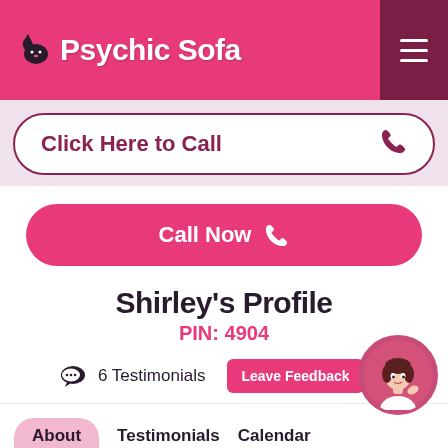Psychic Sofa
Click Here to Call
Call Now
Shirley's Profile
PIN: 4904
6 Testimonials  Leave Feedback
About  Testimonials  Calendar